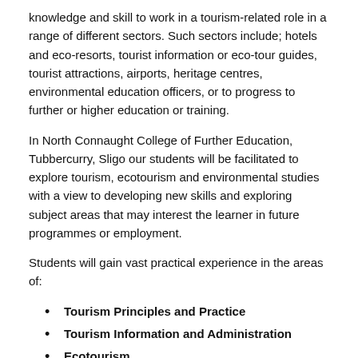knowledge and skill to work in a tourism-related role in a range of different sectors. Such sectors include; hotels and eco-resorts, tourist information or eco-tour guides, tourist attractions, airports, heritage centres, environmental education officers, or to progress to further or higher education or training.
In North Connaught College of Further Education, Tubbercurry, Sligo our students will be facilitated to explore tourism, ecotourism and environmental studies with a view to developing new skills and exploring subject areas that may interest the learner in future programmes or employment.
Students will gain vast practical experience in the areas of:
Tourism Principles and Practice
Tourism Information and Administration
Ecotourism
Environmental Studies
Other areas of study include: